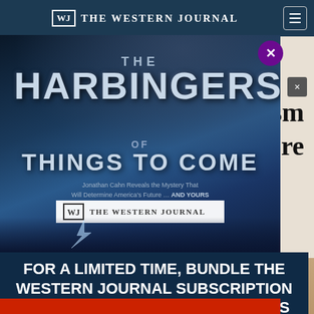THE WESTERN JOURNAL
anism
A Store
[Figure (screenshot): Modal advertisement popup for 'The Harbingers of Things to Come' movie, overlaying The Western Journal website. The modal shows a movie poster with dramatic dark blue cloudy background, the movie title 'THE HARBINGERS OF THINGS TO COME' in large metallic text, tagline 'Jonathan Cahn Reveals the Mystery That Will Determine America's Future ... AND YOURS', The Western Journal logo, and promotional text: 'FOR A LIMITED TIME, BUNDLE THE WESTERN JOURNAL SUBSCRIPTION WITH THE HARBINGERS OF THINGS TO COME MOVIE']
FOR A LIMITED TIME, BUNDLE THE WESTERN JOURNAL SUBSCRIPTION WITH THE HARBINGERS OF THINGS TO COME MOVIE